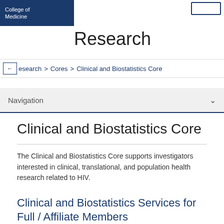College of Medicine
Research
Research > Cores > Clinical and Biostatistics Core
Navigation
Clinical and Biostatistics Core
The Clinical and Biostatistics Core supports investigators interested in clinical, translational, and population health research related to HIV.
Clinical and Biostatistics Services for Full / Affiliate Members